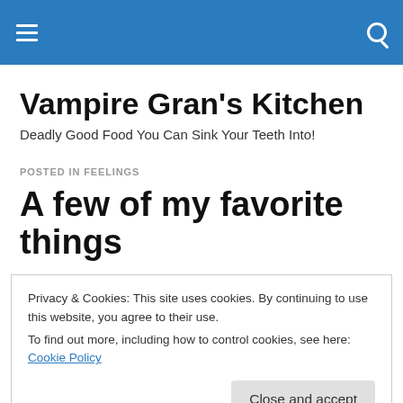Vampire Gran's Kitchen [navigation bar with hamburger menu and search icon]
Vampire Gran's Kitchen
Deadly Good Food You Can Sink Your Teeth Into!
POSTED IN FEELINGS
A few of my favorite things
Privacy & Cookies: This site uses cookies. By continuing to use this website, you agree to their use.
To find out more, including how to control cookies, see here: Cookie Policy
Close and accept
When I'm feeling sad,